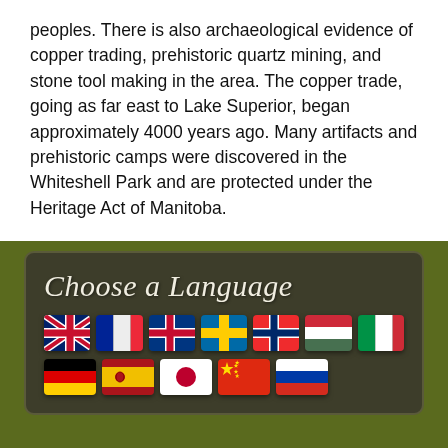peoples. There is also archaeological evidence of copper trading, prehistoric quartz mining, and stone tool making in the area. The copper trade, going as far east to Lake Superior, began approximately 4000 years ago. Many artifacts and prehistoric camps were discovered in the Whiteshell Park and are protected under the Heritage Act of Manitoba.
[Figure (screenshot): A dark olive-green panel with a rounded dark box containing the text 'Choose a Language' in italic white script, followed by two rows of country flag icons representing different languages including English, French, Danish/Norwegian, Swedish, Norwegian, Hungarian, Italian, German, Spanish, Japanese, Chinese, and Russian.]